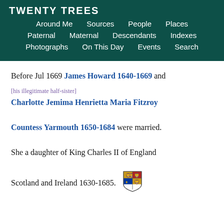Twenty Trees
Around Me | Sources | People | Places | Paternal | Maternal | Descendants | Indexes | Photographs | On This Day | Events | Search
Before Jul 1669 James Howard 1640-1669 and [his illegitimate half-sister] Charlotte Jemima Henrietta Maria Fitzroy Countess Yarmouth 1650-1684 were married. She a daughter of King Charles II of England Scotland and Ireland 1630-1685.